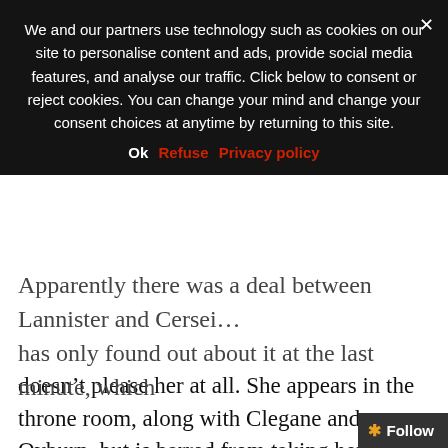[Figure (screenshot): Cookie consent overlay banner with dark background, containing consent text, close button (×), and three action links: Ok, Refuse, Privacy policy]
doesn't please her at all. She appears in the throne room, along with Clegane and Qyburn, but is barred from taking her place beside Tommen. Kevan instead sends her to stand with the other ladies, in the gallery. Tommen does not intervene. Why is Tommen so against her now? Is this the Sparrow's doing? Margaery's? Kevan's? I feel like I've missed something.
Cersei goes to the gallery, where the ladies all melt away from her like she's diseased or something. Tommen takes the throne and announces that trial by combat is now to be outlawed. Bummer, Cersei. The trial w…